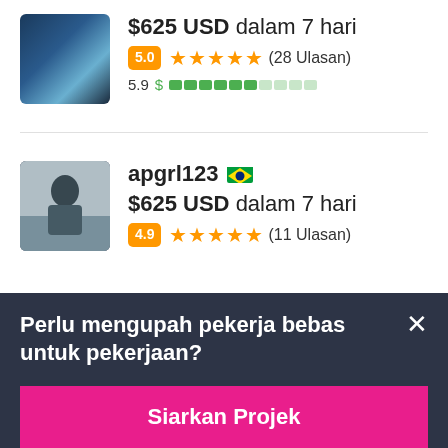$625 USD dalam 7 hari
5.0 ★★★★★ (28 Ulasan)
5.9 $ ▓▓▓▓▓▓░░░░
apgrl123 🇧🇷
$625 USD dalam 7 hari
4.9 ★★★★★ (11 Ulasan)
Perlu mengupah pekerja bebas untuk pekerjaan?
Siarkan Projek